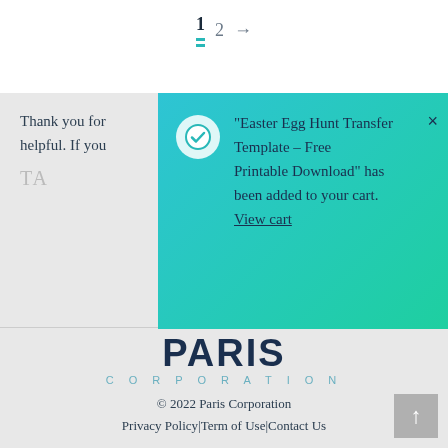1  2  →
Thank you for... helpful. If you...
TA...
[Figure (screenshot): Teal/cyan notification popup overlay showing a white checkmark circle and the message: "Easter Egg Hunt Transfer Template – Free Printable Download" has been added to your cart. View cart. With an X close button.]
PARIS CORPORATION © 2022 Paris Corporation Privacy Policy | Term of Use | Contact Us